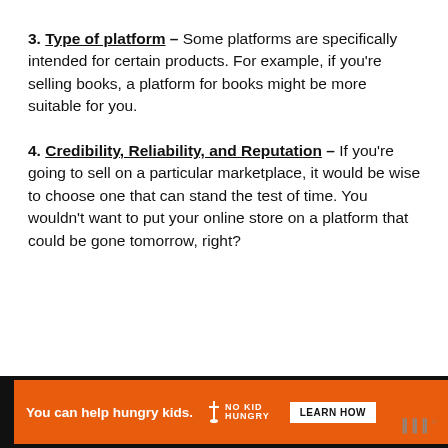3. Type of platform – Some platforms are specifically intended for certain products. For example, if you're selling books, a platform for books might be more suitable for you.
4. Credibility, Reliability, and Reputation – If you're going to sell on a particular marketplace, it would be wise to choose one that can stand the test of time. You wouldn't want to put your online store on a platform that could be gone tomorrow, right?
[Figure (infographic): Advertisement banner: orange background with text 'You can help hungry kids.' No Kid Hungry logo and 'LEARN HOW' button. Close button (X) visible. Watermark logo on right side in black area.]